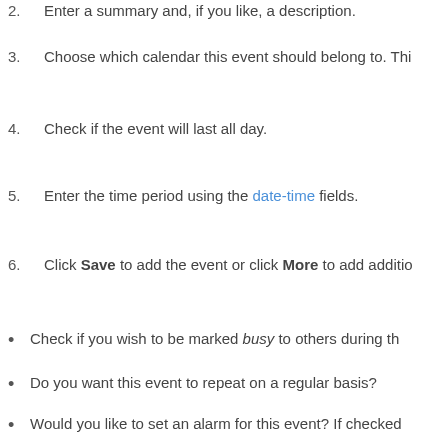2. Enter a summary and, if you like, a description.
3. Choose which calendar this event should belong to. Thi...
4. Check if the event will last all day.
5. Enter the time period using the date-time fields.
6. Click Save to add the event or click More to add additio...
Check if you wish to be marked busy to others during th...
Do you want this event to repeat on a regular basis?
Would you like to set an alarm for this event? If checked... reminder at you within a few minutes of the alarm you s...
You can set a location by typing a room name; if there's...
Likewise with resources!
Invite people to attend your event. You can type names...
After creating the event, you'll see it in Calendar (Attendees will ...